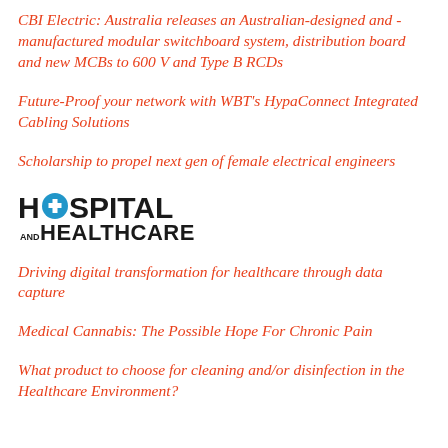CBI Electric: Australia releases an Australian-designed and -manufactured modular switchboard system, distribution board and new MCBs to 600 V and Type B RCDs
Future-Proof your network with WBT's HypaConnect Integrated Cabling Solutions
Scholarship to propel next gen of female electrical engineers
[Figure (logo): Hospital and Healthcare logo — bold black text with a blue cross/plus icon replacing the O in HOSPITAL]
Driving digital transformation for healthcare through data capture
Medical Cannabis: The Possible Hope For Chronic Pain
What product to choose for cleaning and/or disinfection in the Healthcare Environment?